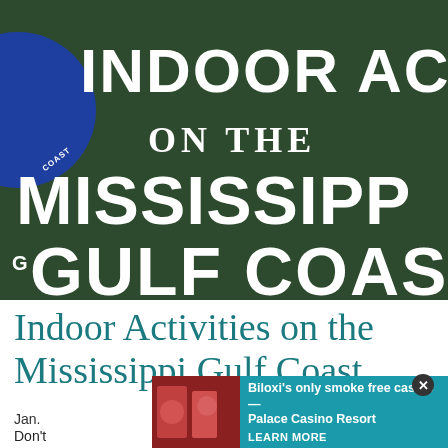[Figure (photo): Dark green background image with large bold white text reading 'INDOOR ACTIV ON THE MISSISSIPPI GULF COAS' (cropped on the right). A blue circular logo/badge is partially visible on the left side with 'COAST' text curving around it. A letter 'G' appears at the bottom left.]
Indoor Activities on the Mississippi Gulf Coast
Jan.
Don't
hat
[Figure (photo): Advertisement banner for Palace Casino Resort in Biloxi. Shows a photo of casino patrons on the left. Text reads: 'Biloxi's only smoke free casino— Palace Casino Resort LEARN MORE'. Teal/cyan background. Close button (x) in upper right corner.]